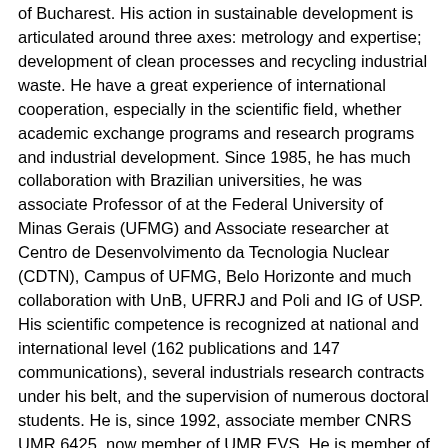of Bucharest. His action in sustainable development is articulated around three axes: metrology and expertise; development of clean processes and recycling industrial waste. He have a great experience of international cooperation, especially in the scientific field, whether academic exchange programs and research programs and industrial development. Since 1985, he has much collaboration with Brazilian universities, he was associate Professor of at the Federal University of Minas Gerais (UFMG) and Associate researcher at Centro de Desenvolvimento da Tecnologia Nuclear (CDTN), Campus of UFMG, Belo Horizonte and much collaboration with UnB, UFRRJ and Poli and IG of USP. His scientific competence is recognized at national and international level (162 publications and 147 communications), several industrials research contracts under his belt, and the supervision of numerous doctoral students. He is, since 1992, associate member CNRS UMR 6425, now member of UMR EVS. He is member of the Scientific Committee and editorial of several journals and organizations and expert from the European Community programs, expert with the European Agency Education France European training programs: Leonardo da Vinci, Erasmus, Erasmus Mundus and technology transfer. He has an important economic and scientific network of relationships in France and in several countries.
Maria Encarnação Beltrão Sposito